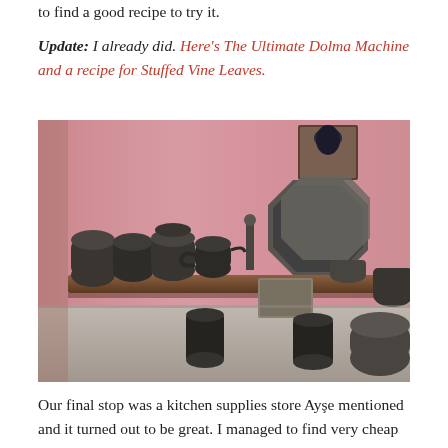to find a good recipe to try it.
Update: I already did. Here's The Ultimate Dolma Machine and a recipe for Stuffed Vine Leaves.
[Figure (photo): Antique metal cookware, pots, pans and decorative containers displayed on a wooden shelf against a pink painted wall outside a shop.]
Our final stop was a kitchen supplies store Ayşe mentioned and it turned out to be great. I managed to find very cheap